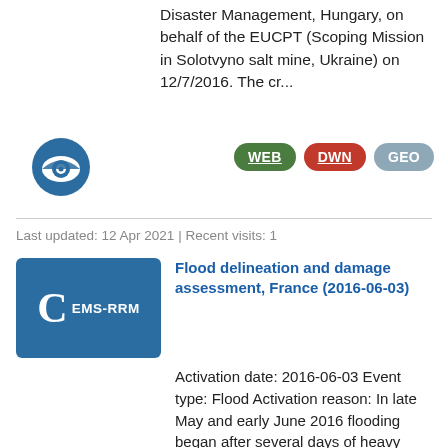Disaster Management, Hungary, on behalf of the EUCPT (Scoping Mission in Solotvyno salt mine, Ukraine) on 12/7/2016. The cr...
[Figure (logo): Circular eye icon with blue and white design]
WEB DWN GEO
Last updated: 12 Apr 2021 | Recent visits: 1
[Figure (logo): Blue square badge with large C letter and EMS-RRM label]
Flood delineation and damage assessment, France (2016-06-03)
Activation date: 2016-06-03 Event type: Flood Activation reason: In late May and early June 2016 flooding began after several days of heavy rain. The Loing and Seine rivers burst their banks and 4,000 people were evacuated from the town of Nemours. S...